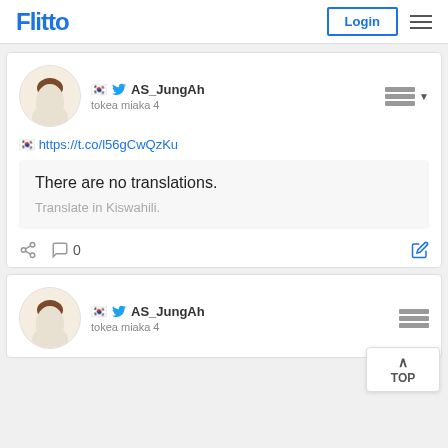Flitto  Login
🇰🇷 AS_JungAh
tokea miaka 4
🇰🇷 https://t.co/l56gCwQzKu
There are no translations.
Translate in Kiswahili.
0
🇰🇷 AS_JungAh
tokea miaka 4